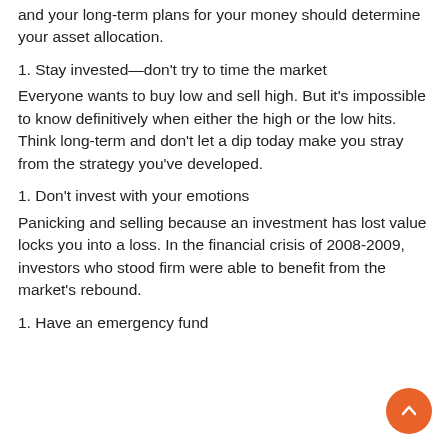and your long-term plans for your money should determine your asset allocation.
1. Stay invested—don't try to time the market
Everyone wants to buy low and sell high. But it's impossible to know definitively when either the high or the low hits. Think long-term and don't let a dip today make you stray from the strategy you've developed.
1. Don't invest with your emotions
Panicking and selling because an investment has lost value locks you into a loss. In the financial crisis of 2008-2009, investors who stood firm were able to benefit from the market's rebound.
1. Have an emergency fund